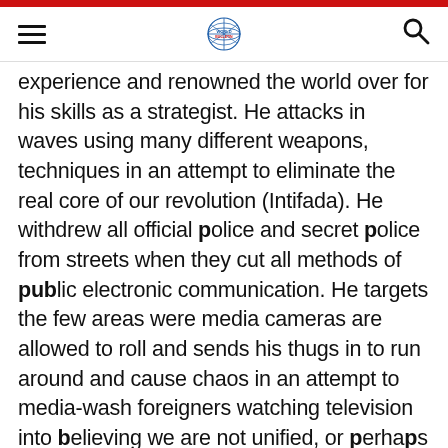World Bulletin - navigation header
experience and renowned the world over for his skills as a strategist. He attacks in waves using many different weapons, techniques in an attempt to eliminate the real core of our revolution (Intifada). He withdrew all official police and secret police from streets when they cut all methods of public electronic communication. He targets the few areas were media cameras are allowed to roll and sends his thugs in to run around and cause chaos in an attempt to media-wash foreigners watching television into believing we are not unified, or perhaps that we are uncivil. This is not the case as you can see from the images and video of Egyptians young and old, rich and poor, of many colors, standing together in unison - singing, chanting,